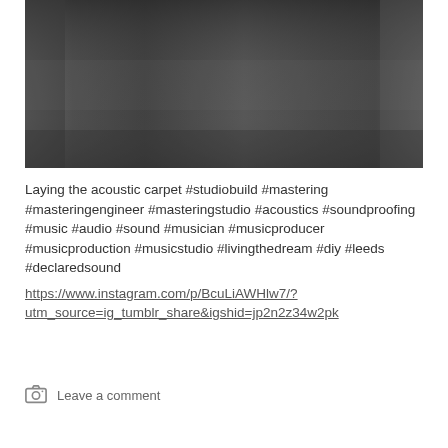[Figure (photo): Grayscale photograph showing an interior space, likely a room with a dark floor and walls. The image appears to show a studio being built with acoustic carpet being laid. Low-light conditions make details difficult to distinguish.]
Laying the acoustic carpet #studiobuild #mastering #masteringengineer #masteringstudio #acoustics #soundproofing #music #audio #sound #musician #musicproducer #musicproduction #musicstudio #livingthedream #diy #leeds #declaredsound
https://www.instagram.com/p/BcuLiAWHlw7/?utm_source=ig_tumblr_share&igshid=jp2n2z34w2pk
Leave a comment